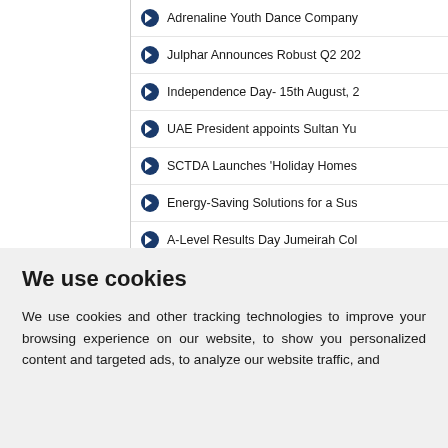Adrenaline Youth Dance Company
Julphar Announces Robust Q2 202
Independence Day- 15th August, 2
UAE President appoints Sultan Yu
SCTDA Launches 'Holiday Homes
Energy-Saving Solutions for a Sus
A-Level Results Day Jumeirah Col
UAE Research Program for Rain E
Abu Dhabi University Provided Ove
We use cookies
We use cookies and other tracking technologies to improve your browsing experience on our website, to show you personalized content and targeted ads, to analyze our website traffic, and